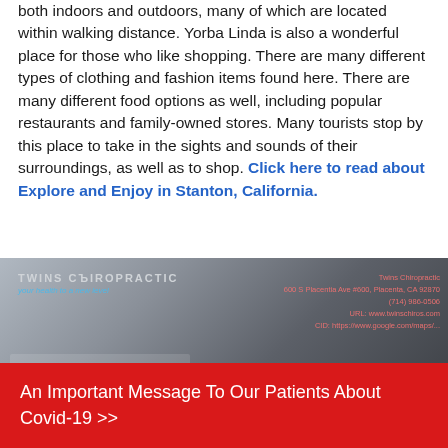both indoors and outdoors, many of which are located within walking distance. Yorba Linda is also a wonderful place for those who like shopping. There are many different types of clothing and fashion items found here. There are many different food options as well, including popular restaurants and family-owned stores. Many tourists stop by this place to take in the sights and sounds of their surroundings, as well as to shop. Click here to read about Explore and Enjoy in Stanton, California.
[Figure (photo): Twins Chiropractic business card overlay on a blurred outdoor/building background. Shows business name, address (600 S Placentia Ave #600), phone number, URL, and CID (Google Maps link).]
An Important Message To Our Patients About Covid-19 >>